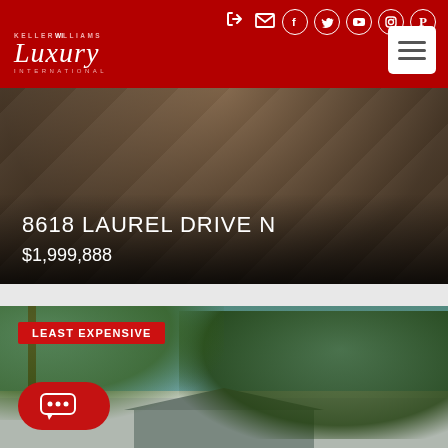Keller Williams Luxury International - website header with navigation icons
[Figure (photo): Close-up aerial view of a tiled or paved roof surface with a dark gradient overlay containing property address and price]
8618 LAUREL DRIVE N
$1,999,888
[Figure (photo): Exterior photo of a single-story home with large trees and a blue sky with a 'LEAST EXPENSIVE' badge overlay]
LEAST EXPENSIVE